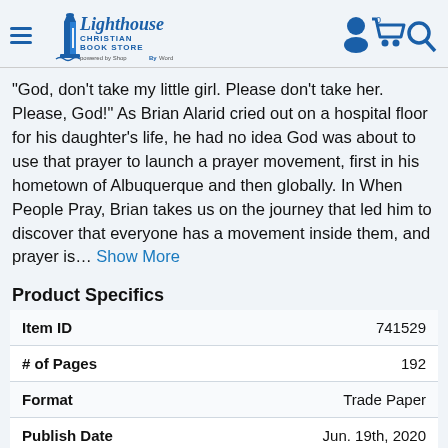Lighthouse Christian Book Store
"God, don't take my little girl. Please don't take her. Please, God!" As Brian Alarid cried out on a hospital floor for his daughter's life, he had no idea God was about to use that prayer to launch a prayer movement, first in his hometown of Albuquerque and then globally. In When People Pray, Brian takes us on the journey that led him to discover that everyone has a movement inside them, and prayer is... Show More
Product Specifics
|  |  |
| --- | --- |
| Item ID | 741529 |
| # of Pages | 192 |
| Format | Trade Paper |
| Publish Date | Jun. 19th, 2020 |